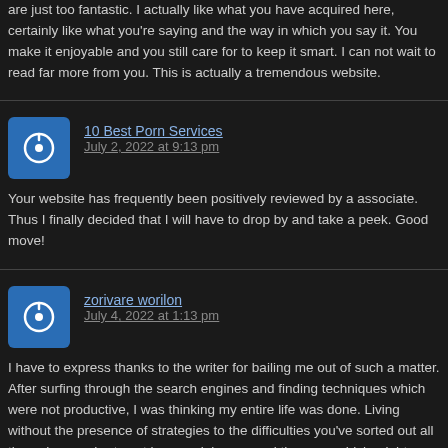are just too fantastic. I actually like what you have acquired here, certainly like what you're saying and the way in which you say it. You make it enjoyable and you still care for to keep it smart. I can not wait to read far more from you. This is actually a tremendous website.
10 Best Porn Services
July 2, 2022 at 9:13 pm
Your website has frequently been positively reviewed by a associate. Thus I finally decided that I will have to drop by and take a peek. Good move!
zorivare worilon
July 4, 2022 at 1:13 pm
I have to express thanks to the writer for bailing me out of such a matter. After surfing through the search engines and finding techniques which were not productive, I was thinking my entire life was done. Living without the presence of strategies to the difficulties you've sorted out all through your short post is a crucial case, and the ones which might have badly affected my entire career if I hadn't noticed your blog. Your own understanding and kindness in taking care of all the pieces was valuable. I'm not sure what I would've done if I had not discovered such a thing like this. I am able to now look ahead to my future. Thanks for your time so much for the reliable and effective help. I won't think twice to refer the website to anybody who would need assistance about this area.